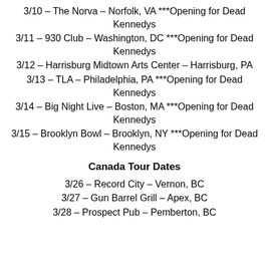3/10 – The Norva – Norfolk, VA  ***Opening for Dead Kennedys
3/11 – 930 Club – Washington, DC  ***Opening for Dead Kennedys
3/12 – Harrisburg Midtown Arts Center – Harrisburg, PA
3/13 – TLA – Philadelphia, PA  ***Opening for Dead Kennedys
3/14 – Big Night Live – Boston, MA   ***Opening for Dead Kennedys
3/15 – Brooklyn Bowl – Brooklyn, NY   ***Opening for Dead Kennedys
Canada Tour Dates
3/26 – Record City – Vernon, BC
3/27 – Gun Barrel Grill – Apex, BC
3/28 – Prospect Pub – Pemberton, BC